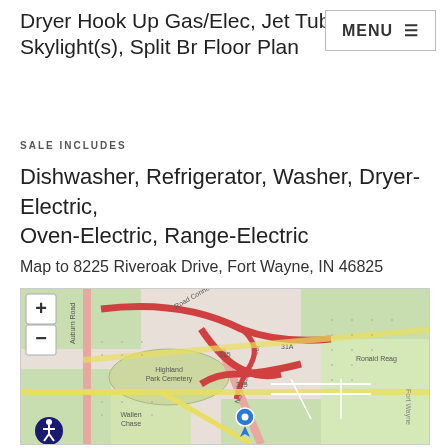Dryer Hook Up Gas/Elec, Jet Tub, Skylight(s), Split Br Floor Plan
SALE INCLUDES
Dishwasher, Refrigerator, Washer, Dryer-Electric, Oven-Electric, Range-Electric
Map to 8225 Riveroak Drive, Fort Wayne, IN 46825
[Figure (map): Street map showing area around 8225 Riveroak Drive, Fort Wayne, IN 46825. Shows Highland Park Cemetery, Wallen Chase neighborhood, North Clinton Street, Auburn Road, and major interchanges with route 315 and 31A/Ronald Reagan Parkway. Blue location pin marks the property. Map includes zoom controls and accessibility icon.]